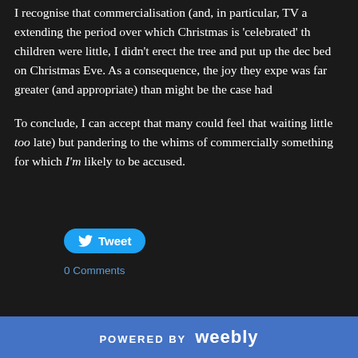I recognise that commercialisation (and, in particular, TV a extending the period over which Christmas is 'celebrated' th children were little, I didn't erect the tree and put up the dec bed on Christmas Eve. As a consequence, the joy they expe was far greater (and appropriate) than might be the case had
To conclude, I can accept that many could feel that waiting little too late) but pandering to the whims of commercially something for which I'm likely to be accused.
[Figure (other): Twitter Tweet button (blue rounded rectangle with bird icon and 'Tweet' text)]
0 Comments
POWERED BY weebly